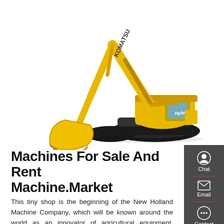[Figure (photo): Yellow Komatsu Hybrid excavator on white background, with Komatsu branding visible, arm extended with bucket]
Machines For Sale And Rent Machine.Market
This tiny shop is the beginning of the New Holland Machine Company, which will be known around the world as an innovator of agricultural equipment. Crane Specifications, Load Charts, and Crane Manuals are for *Reference Only* and are not to be used by the crane operator to operate any type of